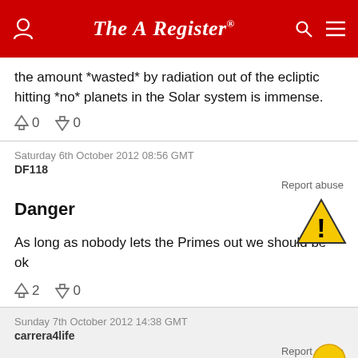The Register
the amount *wasted* by radiation out of the ecliptic hitting *no* planets in the Solar system is immense.
↑0  ↓0
Saturday 6th October 2012 08:56 GMT
DF118
Report abuse
Danger
As long as nobody lets the Primes out we should be ok
↑2  ↓0
Sunday 7th October 2012 14:38 GMT
carrera4life
Report abuse
Re: Danger